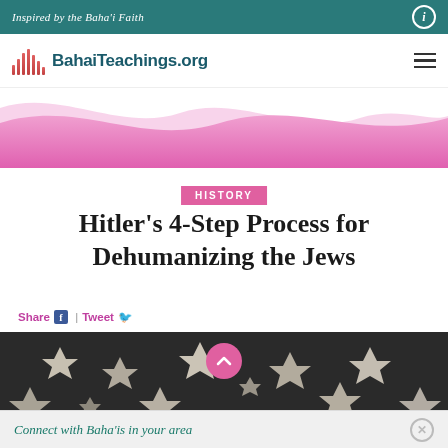Inspired by the Baha'i Faith
[Figure (logo): BahaiTeachings.org logo with stylized bar graph icon]
[Figure (illustration): Pink and white decorative wave banner]
HISTORY
Hitler’s 4-Step Process for Dehumanizing the Jews
Share | Tweet
[Figure (photo): Close-up photo of Star of David badges, black and white/cream colored stars scattered on dark background]
Connect with Baha’is in your area